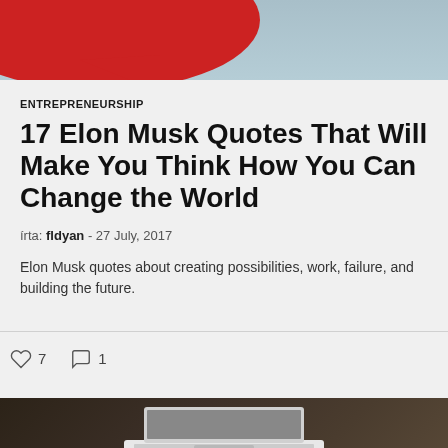[Figure (photo): Top portion of an image with a red speech bubble shape against a blue-grey background]
ENTREPRENEURSHIP
17 Elon Musk Quotes That Will Make You Think How You Can Change the World
írta: fldyan - 27 July, 2017
Elon Musk quotes about creating possibilities, work, failure, and building the future.
♡ 7   ○ 1
[Figure (photo): Partial photo of a laptop on a wooden desk, bottom of page]